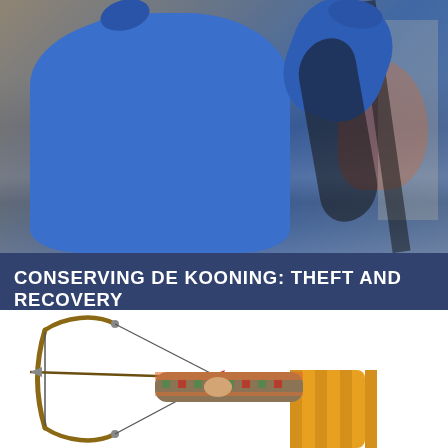[Figure (photo): Close-up photo of a person wearing a bright blue sweater/jacket, arms raised against a painted canvas background with abstract brushstrokes in ochre, brown, and dark tones.]
CONSERVING DE KOONING: THEFT AND RECOVERY
AUGUST 6, 2022
[Figure (photo): Photo of a decorative figurine or statue of an archer — a person in traditional colorful attire (striped yellow and multicolor vest, patterned sleeves, red cap) drawing a bow and arrow. The figure is shown against a white background.]